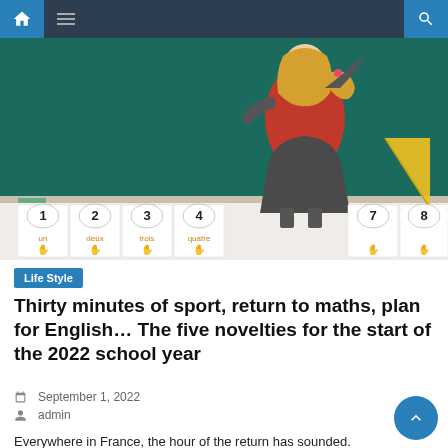Navigation bar with home, menu, and search icons
[Figure (photo): A young blonde girl in a red top writing on a blackboard. Number cards (1, 2, 3, 4, 7, 8) with hand illustrations are displayed along the bottom of the board. A yellow set square is visible on the right side.]
Life Style
Thirty minutes of sport, return to maths, plan for English… The five novelties for the start of the 2022 school year
September 1, 2022
admin
Everywhere in France, the hour of the return has sounded. Pupils, from kindergarten to high school, returned to the